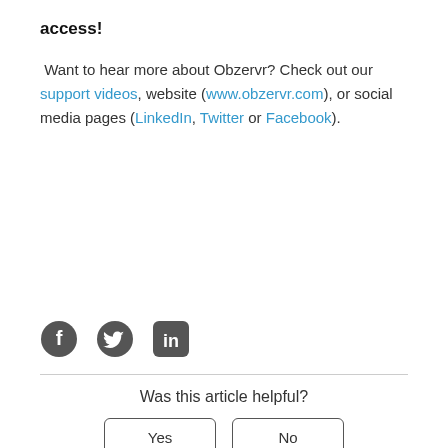access!
Want to hear more about Obzervr? Check out our support videos, website (www.obzervr.com), or social media pages (LinkedIn, Twitter or Facebook).
[Figure (illustration): Row of three social media icons: Facebook (circle with f), Twitter (bird), LinkedIn (square with in)]
Was this article helpful?
Yes | No buttons
0 out of 0 found this helpful